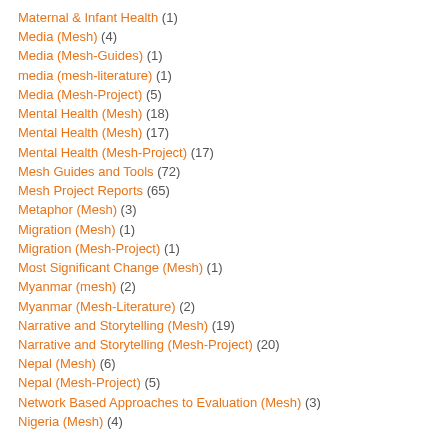Maternal & Infant Health (1)
Media (Mesh) (4)
Media (Mesh-Guides) (1)
media (mesh-literature) (1)
Media (Mesh-Project) (5)
Mental Health (Mesh) (18)
Mental Health (Mesh) (17)
Mental Health (Mesh-Project) (17)
Mesh Guides and Tools (72)
Mesh Project Reports (65)
Metaphor (Mesh) (3)
Migration (Mesh) (1)
Migration (Mesh-Project) (1)
Most Significant Change (Mesh) (1)
Myanmar (mesh) (2)
Myanmar (Mesh-Literature) (2)
Narrative and Storytelling (Mesh) (19)
Narrative and Storytelling (Mesh-Project) (20)
Nepal (Mesh) (6)
Nepal (Mesh-Project) (5)
Network Based Approaches to Evaluation (Mesh) (3)
Nigeria (Mesh) (4)